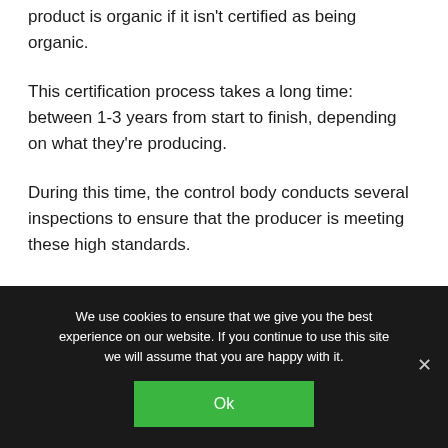product is organic if it isn't certified as being organic.
This certification process takes a long time: between 1-3 years from start to finish, depending on what they're producing.
During this time, the control body conducts several inspections to ensure that the producer is meeting these high standards.
We use cookies to ensure that we give you the best experience on our website. If you continue to use this site we will assume that you are happy with it.